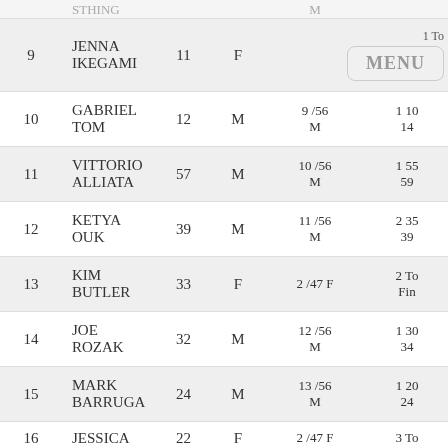| # | Name | Bib | Gender | Place/Category | Time |
| --- | --- | --- | --- | --- | --- |
|  | STHING |  |  | M |  |
| 9 | JENNA IKEGAMI | 11 | F |  | 1 To… |
| 10 | GABRIEL TOM | 12 | M | 9 /56 M | 1 10 14 |
| 11 | VITTORIO ALLIATA | 57 | M | 10 /56 M | 1 55 59 |
| 12 | KETYA OUK | 39 | M | 11 /56 M | 2 35 39 |
| 13 | KIM BUTLER | 33 | F | 2 /47 F | 2 To… Fin… |
| 14 | JOE ROZAK | 32 | M | 12 /56 M | 1 30 34 |
| 15 | MARK BARRUGA | 24 | M | 13 /56 M | 1 20 24 |
| 16 | JESSICA | 22 | F | 2 /47 F | 3 To… |